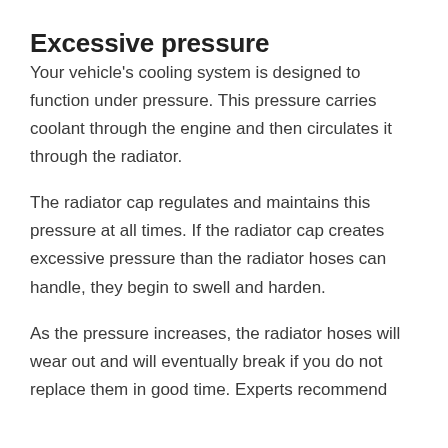Excessive pressure
Your vehicle's cooling system is designed to function under pressure. This pressure carries coolant through the engine and then circulates it through the radiator.
The radiator cap regulates and maintains this pressure at all times. If the radiator cap creates excessive pressure than the radiator hoses can handle, they begin to swell and harden.
As the pressure increases, the radiator hoses will wear out and will eventually break if you do not replace them in good time. Experts recommend